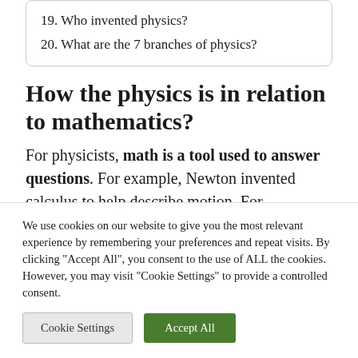19. Who invented physics?
20. What are the 7 branches of physics?
How the physics is in relation to mathematics?
For physicists, math is a tool used to answer questions. For example, Newton invented calculus to help describe motion. For mathematicians, physics can be a source of
We use cookies on our website to give you the most relevant experience by remembering your preferences and repeat visits. By clicking "Accept All", you consent to the use of ALL the cookies. However, you may visit "Cookie Settings" to provide a controlled consent.